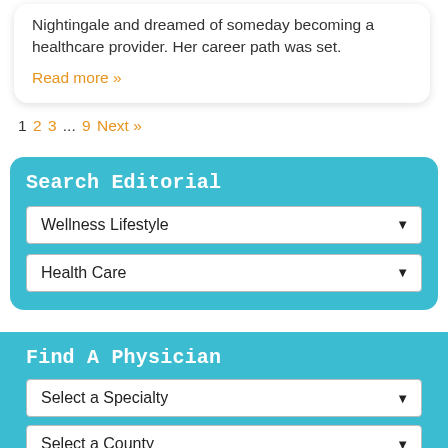Nightingale and dreamed of someday becoming a healthcare provider. Her career path was set.
Read more »
1 2 3 ... 9 Next »
Search Editorial
Wellness Lifestyle
Health Care
Find A Physician
Select a Specialty
Select a County